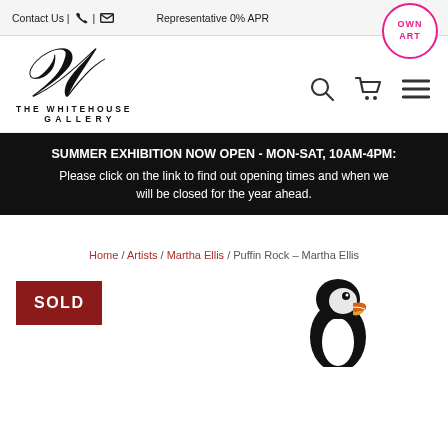Contact Us | [phone] | [email]   Representative 0% APR   OWN ART
[Figure (logo): The Whitehouse Gallery cursive W logo with text THE WHITEHOUSE GALLERY beneath]
[Figure (infographic): Navigation icons: search magnifying glass, shopping cart, hamburger menu]
SUMMER EXHIBITION NOW OPEN - MON-SAT, 10AM-4PM: Please click on the link to find out opening times and when we will be closed for the year ahead.
Home / Artists / Martha Ellis / Puffin Rock – Martha Ellis
SOLD
[Figure (illustration): Illustration of a puffin bird, black and white with orange beak, on white background]